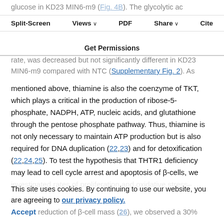glucose in KD23 MIN6-m9 (Fig. 4B). The glycolytic activity, determined by the extracellular acidification rate, was decreased but not significantly different in KD23 MIN6-m9 compared with NTC (Supplementary Fig. 2). As
Split-Screen  Views  PDF  Share  Cite  Get Permissions
mentioned above, thiamine is also the coenzyme of TKT, which plays a critical in the production of ribose-5-phosphate, NADPH, ATP, nucleic acids, and glutathione through the pentose phosphate pathway. Thus, thiamine is not only necessary to maintain ATP production but is also required for DNA duplication (22,23) and for detoxification (22,24,25). To test the hypothesis that THTR1 deficiency may lead to cell cycle arrest and apoptosis of β-cells, we investigated rates of proliferation and oxidative stress–
This site uses cookies. By continuing to use our website, you are agreeing to our privacy policy. Accept
reduction of β-cell mass (26), we observed a 30% decrease in cell proliferation